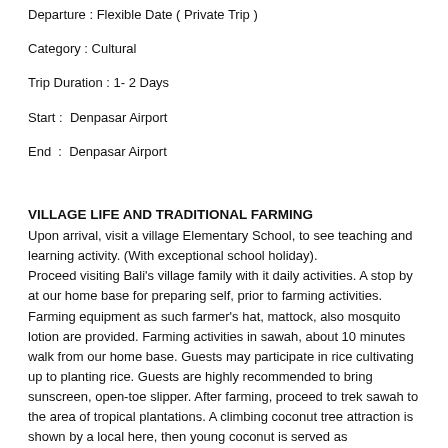Departure : Flexible Date ( Private Trip )
Category : Cultural
Trip Duration : 1- 2 Days
Start :  Denpasar Airport
End  :  Denpasar Airport
VILLAGE LIFE AND TRADITIONAL FARMING
Upon arrival, visit a village Elementary School, to see teaching and learning activity. (With exceptional school holiday).
Proceed visiting Bali's village family with it daily activities. A stop by at our home base for preparing self, prior to farming activities. Farming equipment as such farmer's hat, mattock, also mosquito lotion are provided. Farming activities in sawah, about 10 minutes walk from our home base. Guests may participate in rice cultivating up to planting rice. Guests are highly recommended to bring sunscreen, open-toe slipper. After farming, proceed to trek sawah to the area of tropical plantations. A climbing coconut tree attraction is shown by a local here, then young coconut is served as refreshment. By a walk back to our home base for boiling cassava demonstration on traditional kitchen. At the end a traditional lunch is served.